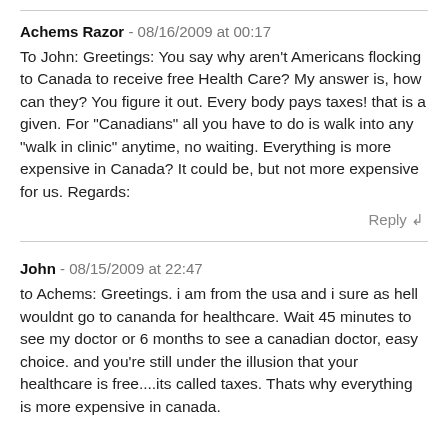Achems Razor - 08/16/2009 at 00:17
To John: Greetings: You say why aren't Americans flocking to Canada to receive free Health Care? My answer is, how can they? You figure it out. Every body pays taxes! that is a given. For "Canadians" all you have to do is walk into any "walk in clinic" anytime, no waiting. Everything is more expensive in Canada? It could be, but not more expensive for us. Regards:
Reply
John - 08/15/2009 at 22:47
to Achems: Greetings. i am from the usa and i sure as hell wouldnt go to cananda for healthcare. Wait 45 minutes to see my doctor or 6 months to see a canadian doctor, easy choice. and you're still under the illusion that your healthcare is free....its called taxes. Thats why everything is more expensive in canada.